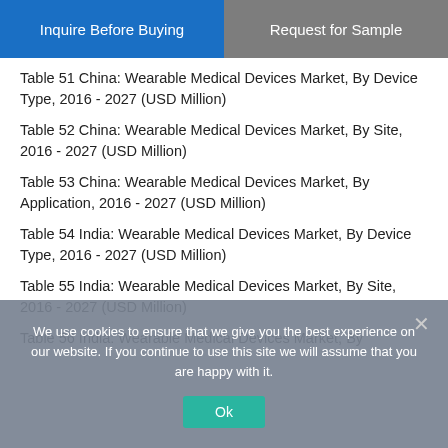[Figure (other): Two buttons: 'Inquire Before Buying' (blue) and 'Request for Sample' (gray)]
Table 51 China: Wearable Medical Devices Market, By Device Type, 2016 - 2027 (USD Million)
Table 52 China: Wearable Medical Devices Market, By Site, 2016 - 2027 (USD Million)
Table 53 China: Wearable Medical Devices Market, By Application, 2016 - 2027 (USD Million)
Table 54 India: Wearable Medical Devices Market, By Device Type, 2016 - 2027 (USD Million)
Table 55 India: Wearable Medical Devices Market, By Site, 2016 - 2027 (USD Million)
Table 56 India: Wearable Medical Devices Market, By ...
We use cookies to ensure that we give you the best experience on our website. If you continue to use this site we will assume that you are happy with it.